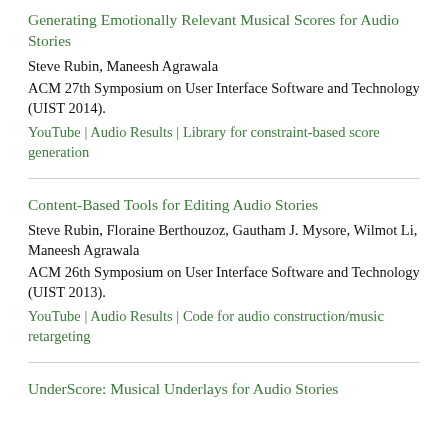Generating Emotionally Relevant Musical Scores for Audio Stories
Steve Rubin, Maneesh Agrawala
ACM 27th Symposium on User Interface Software and Technology (UIST 2014).
YouTube | Audio Results | Library for constraint-based score generation
Content-Based Tools for Editing Audio Stories
Steve Rubin, Floraine Berthouzoz, Gautham J. Mysore, Wilmot Li, Maneesh Agrawala
ACM 26th Symposium on User Interface Software and Technology (UIST 2013).
YouTube | Audio Results | Code for audio construction/music retargeting
UnderScore: Musical Underlays for Audio Stories